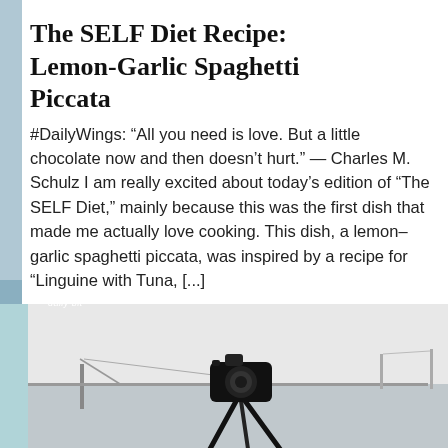The SELF Diet Recipe: Lemon-Garlic Spaghetti Piccata
#DailyWings: “All you need is love. But a little chocolate now and then doesn’t hurt.” — Charles M. Schulz I am really excited about today’s edition of “The SELF Diet,” mainly because this was the first dish that made me actually love cooking. This dish, a lemon-garlic spaghetti piccata, was inspired by a recipe for “Linguine with Tuna, [...]
[Figure (photo): Black and white photo showing a camera or tripod silhouette in the foreground, with a bridge and water visible in the background. Text overlay reads 'daily bit' at the top left.]